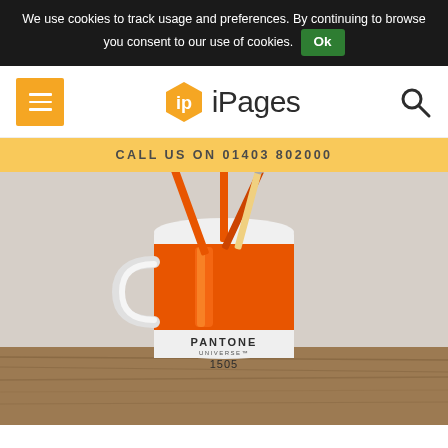We use cookies to track usage and preferences. By continuing to browse you consent to our use of cookies. Ok
iPages
CALL US ON 01403 802000
[Figure (photo): A white and orange Pantone Universe 1505 mug holding orange pens/pencils, sitting on a wooden surface against a light background.]